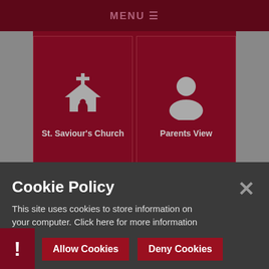MENU ≡
[Figure (screenshot): St. Saviour's Church tile with church icon]
St. Saviour's Church
[Figure (screenshot): Parents View tile with person/user icon]
Parents View
Cookie Policy
This site uses cookies to store information on your computer. Click here for more information
Allow Cookies
Deny Cookies